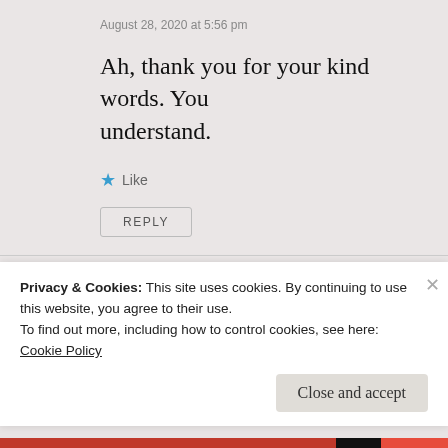August 28, 2020 at 5:56 pm
Ah, thank you for your kind words. You understand.
★ Like
REPLY
Salko Safic
September 6, 2020 at 11:44 pm
Privacy & Cookies: This site uses cookies. By continuing to use this website, you agree to their use.
To find out more, including how to control cookies, see here:
Cookie Policy
Close and accept